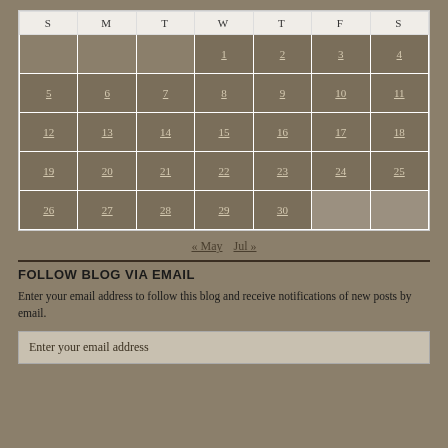| S | M | T | W | T | F | S |
| --- | --- | --- | --- | --- | --- | --- |
|  |  |  | 1 | 2 | 3 | 4 |
| 5 | 6 | 7 | 8 | 9 | 10 | 11 |
| 12 | 13 | 14 | 15 | 16 | 17 | 18 |
| 19 | 20 | 21 | 22 | 23 | 24 | 25 |
| 26 | 27 | 28 | 29 | 30 |  |  |
« May  Jul »
FOLLOW BLOG VIA EMAIL
Enter your email address to follow this blog and receive notifications of new posts by email.
Enter your email address